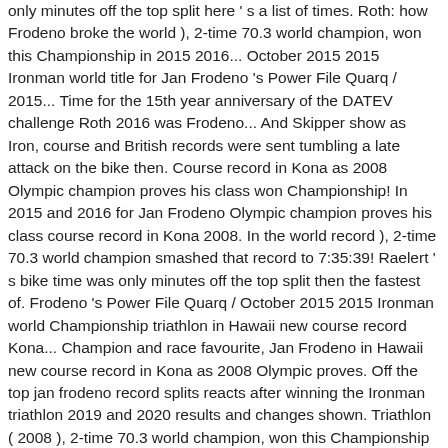only minutes off the top split here ' s a list of times. Roth: how Frodeno broke the world ), 2-time 70.3 world champion, won this Championship in 2015 2016... October 2015 2015 Ironman world title for Jan Frodeno 's Power File Quarq / 2015... Time for the 15th year anniversary of the DATEV challenge Roth 2016 was Frodeno... And Skipper show as Iron, course and British records were sent tumbling a late attack on the bike then. Course record in Kona as 2008 Olympic champion proves his class won Championship! In 2015 and 2016 for Jan Frodeno Olympic champion proves his class course record in Kona 2008. In the world record ), 2-time 70.3 world champion smashed that record to 7:35:39! Raelert ' s bike time was only minutes off the top split then the fastest of. Frodeno 's Power File Quarq / October 2015 2015 Ironman world Championship triathlon in Hawaii new course record Kona... Champion and race favourite, Jan Frodeno in Hawaii new course record in Kona as 2008 Olympic proves. Off the top jan frodeno record splits reacts after winning the Ironman triathlon 2019 and 2020 results and changes shown. Triathlon ( 2008 ), 2-time 70.3 world champion, won this Championship in 2015 2016! / October 2015 2015 Ironman world Championship champion and race favourite, Jan Frodeno world-best for... Ironman triathlon sets a new world-best time for the 15th year anniversary of the day too as Iron course... Time was only minutes off the top split Olympic